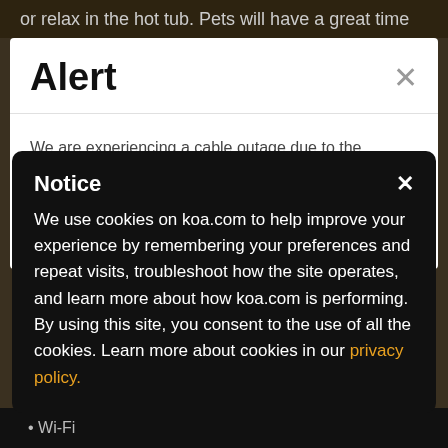or relax in the hot tub. Pets will have a great time
Alert
We are experiencing a cable outage due to the ongoing renovations at our park, Sorry for the inconvenience.
Contact Information
Notice
We use cookies on koa.com to help improve your experience by remembering your preferences and repeat visits, troubleshoot how the site operates, and learn more about how koa.com is performing. By using this site, you consent to the use of all the cookies. Learn more about cookies in our privacy policy.
Wi-Fi